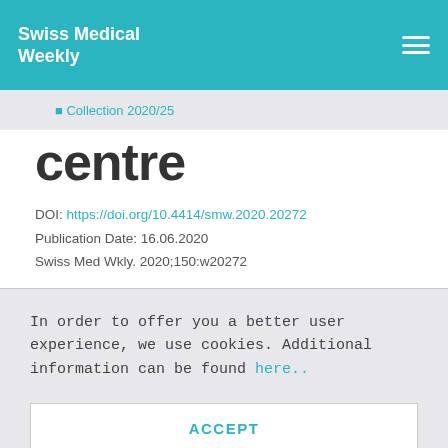Swiss Medical Weekly
◼ Collection 2020/25
centre
DOI: https://doi.org/10.4414/smw.2020.20272
Publication Date: 16.06.2020
Swiss Med Wkly. 2020;150:w20272
In order to offer you a better user experience, we use cookies. Additional information can be found here..
ACCEPT